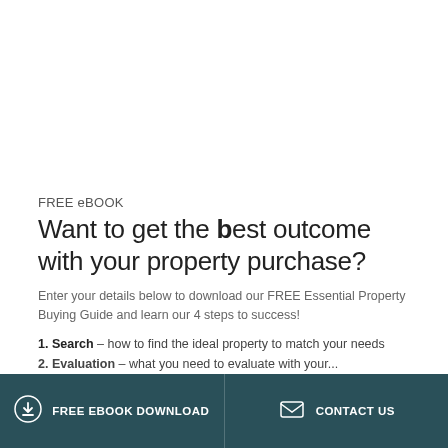FREE eBOOK
Want to get the best outcome with your property purchase?
Enter your details below to download our FREE Essential Property Buying Guide and learn our 4 steps to success!
1. Search – how to find the ideal property to match your needs
2. Evaluation – what you need to evaluate with your...
FREE EBOOK DOWNLOAD    CONTACT US